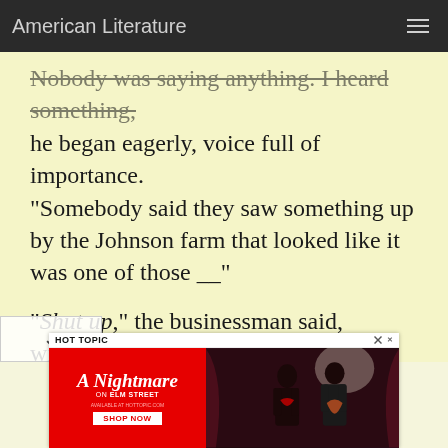American Literature
Nobody was saying anything. "I heard something," he began eagerly, voice full of importance. "Somebody said they saw something up by the Johnson farm that looked like it was one of those __"
"Shut up," the businessman said, without turning his head.
Scarlet-faced, the boy sagged in his seat. His voice wavered and broke off. He peered hastily down at his hands and swallowed unhappily.
[Figure (screenshot): Advertisement for Hot Topic: A Nightmare on Elm Street merchandise, featuring two people in horror-themed clothing against a dark red curtain background, with a red Shop Now button.]